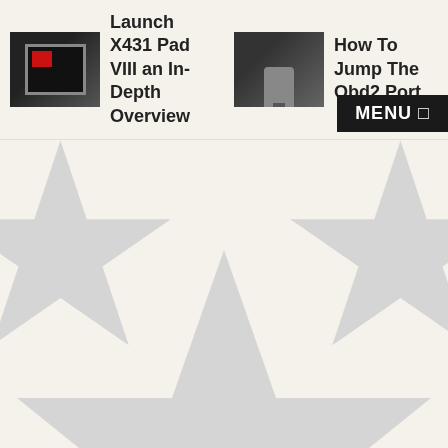[Figure (screenshot): Navigation bar with two article thumbnails and menu button. Left item: thumbnail of Launch X431 Pad VIII tool box with text 'Launch X431 Pad VIII an In-Depth Overview'. Right item: thumbnail of hand connecting OBD2 port with text 'How To Jump The Obd2 Port'. MENU button with bracket icon on the right.]
[Figure (illustration): Large light gray five-pointed star shape filling most of the lower portion of the page, centered slightly left of center. Two additional partial star shapes visible behind the navigation bar at upper left and upper right. Background is white.]